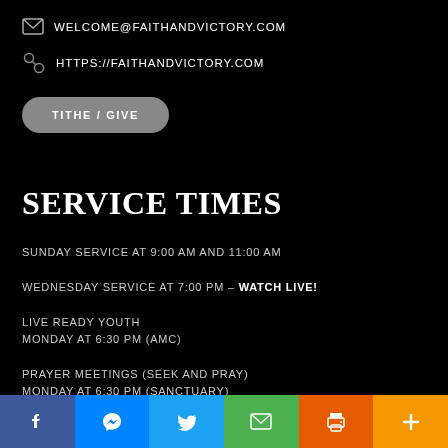WELCOME@FAITHANDVICTORY.COM
HTTPS://FAITHANDVICTORY.COM
TITHE / GIVE
SERVICE TIMES
SUNDAY SERVICE AT 9:00 AM AND 11:00 AM
WEDNESDAY SERVICE AT 7:00 PM – WATCH LIVE!
LIVE READY YOUTH
MONDAY AT 6:30 PM (AMC)
PRAYER MEETINGS (SEEK AND PRAY)
MONDAY AT 6:30 PM (SANCTUARY)
WOMEN'S MORNING BIBLE STUDY
TUESDAY AT 9:30 AM
Social share bar: Facebook, Messenger, Twitter, Email, Print, More